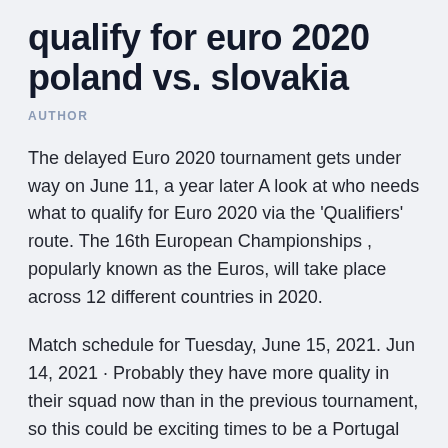qualify for euro 2020 poland vs. slovakia
AUTHOR
The delayed Euro 2020 tournament gets under way on June 11, a year later A look at who needs what to qualify for Euro 2020 via the 'Qualifiers' route. The 16th European Championships , popularly known as the Euros, will take place across 12 different countries in 2020.
Match schedule for Tuesday, June 15, 2021. Jun 14, 2021 · Probably they have more quality in their squad now than in the previous tournament, so this could be exciting times to be a Portugal fan. See our Hungary vs Portugal bet builder tip below and get the latest William